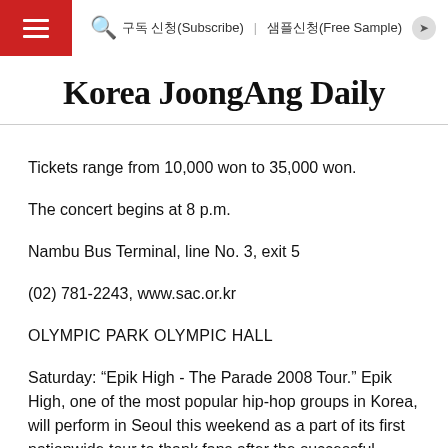Korea JoongAng Daily — 구독 신청(Subscribe) 샘플신청(Free Sample)
Korea JoongAng Daily
Tickets range from 10,000 won to 35,000 won.
The concert begins at 8 p.m.
Nambu Bus Terminal, line No. 3, exit 5
(02) 781-2243, www.sac.or.kr
OLYMPIC PARK OLYMPIC HALL
Saturday: “Epik High - The Parade 2008 Tour.” Epik High, one of the most popular hip-hop groups in Korea, will perform in Seoul this weekend as a part of its first nationwide tour to thank fans after the successful release of the group’s fifth album, “Pieces, Part